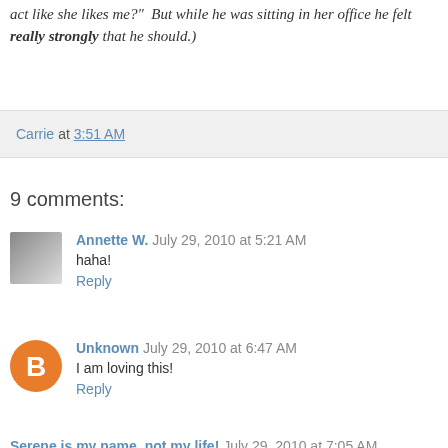act like she likes me?"  But while he was sitting in her office he felt really strongly that he should.)
Carrie at 3:51 AM
9 comments:
Annette W. July 29, 2010 at 5:21 AM
haha!
Reply
Unknown July 29, 2010 at 6:47 AM
I am loving this!
Reply
Serene is my name, not my life! July 29, 2010 at 7:05 AM